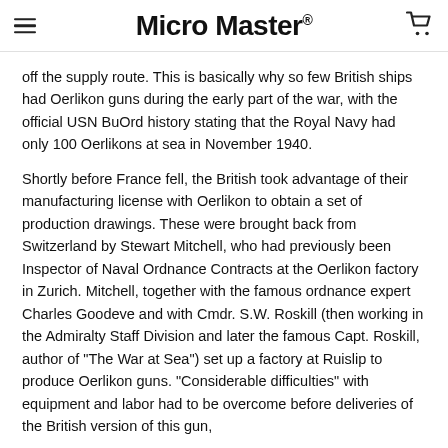Micro Master®
off the supply route. This is basically why so few British ships had Oerlikon guns during the early part of the war, with the official USN BuOrd history stating that the Royal Navy had only 100 Oerlikons at sea in November 1940.
Shortly before France fell, the British took advantage of their manufacturing license with Oerlikon to obtain a set of production drawings. These were brought back from Switzerland by Stewart Mitchell, who had previously been Inspector of Naval Ordnance Contracts at the Oerlikon factory in Zurich. Mitchell, together with the famous ordnance expert Charles Goodeve and with Cmdr. S.W. Roskill (then working in the Admiralty Staff Division and later the famous Capt. Roskill, author of "The War at Sea") set up a factory at Ruislip to produce Oerlikon guns. "Considerable difficulties" with equipment and labor had to be overcome before deliveries of the British version of this gun,